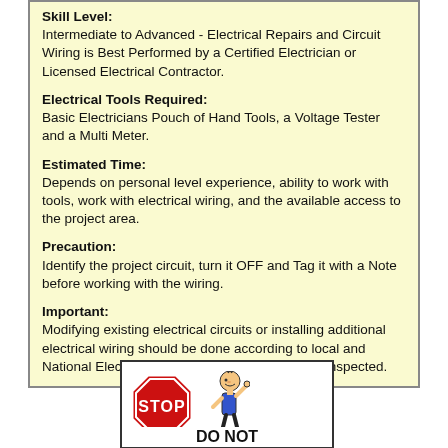Skill Level:
Intermediate to Advanced - Electrical Repairs and Circuit Wiring is Best Performed by a Certified Electrician or Licensed Electrical Contractor.

Electrical Tools Required:
Basic Electricians Pouch of Hand Tools, a Voltage Tester and a Multi Meter.

Estimated Time:
Depends on personal level experience, ability to work with tools, work with electrical wiring, and the available access to the project area.

Precaution:
Identify the project circuit, turn it OFF and Tag it with a Note before working with the wiring.

Important:
Modifying existing electrical circuits or installing additional electrical wiring should be done according to local and National Electrical Codes, with a permit and be inspected.
[Figure (illustration): A STOP sign (octagon, red with white text STOP) next to a cartoon figure holding up one finger, with DO NOT text below]